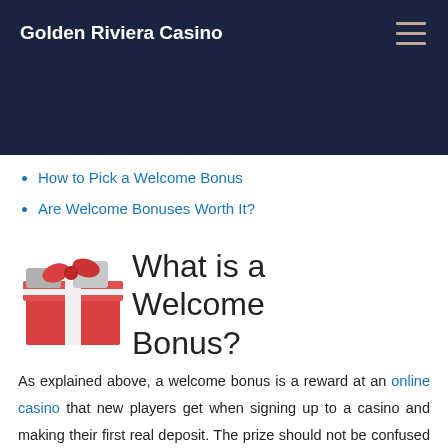Golden Riviera Casino
How to Pick a Welcome Bonus
Are Welcome Bonuses Worth It?
What is a Welcome Bonus?
[Figure (illustration): Red gift box with grey ribbon icon]
As explained above, a welcome bonus is a reward at an online casino that new players get when signing up to a casino and making their first real deposit. The prize should not be confused with a no deposit bonus, which is the offer you get just for creating a casino account and is